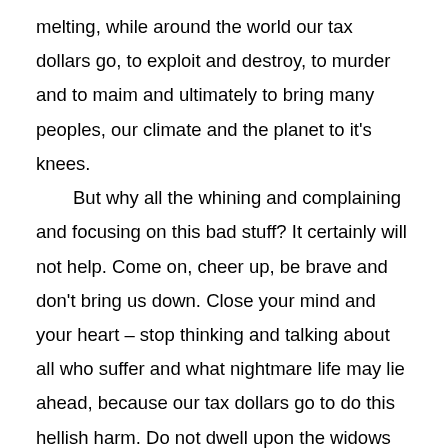melting, while around the world our tax dollars go, to exploit and destroy, to murder and to maim and ultimately to bring many peoples, our climate and the planet to it's knees. But why all the whining and complaining and focusing on this bad stuff? It certainly will not help. Come on, cheer up, be brave and don't bring us down. Close your mind and your heart – stop thinking and talking about all who suffer and what nightmare life may lie ahead, because our tax dollars go to do this hellish harm. Do not dwell upon the widows and their children, who now must live in cold and hunger in a tent, their homes